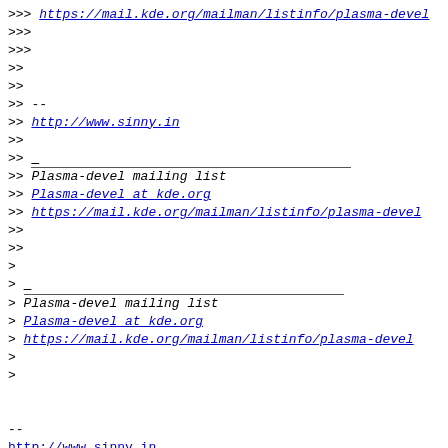>>> https://mail.kde.org/mailman/listinfo/plasma-devel
>>>
>>>
>>
>>
>> --
>> http://www.sinny.in
>>
>> ________________________________
>> Plasma-devel mailing list
>> Plasma-devel at kde.org
>> https://mail.kde.org/mailman/listinfo/plasma-devel
>>
>>
>
> ________________________________
> Plasma-devel mailing list
> Plasma-devel at kde.org
> https://mail.kde.org/mailman/listinfo/plasma-devel
>
>


--
http://www.sinny.in
--------------- next part ---------------
An HTML attachment was scrubbed...
URL: <http://mail.kde.org/pipermail/plasma-devel/attachments/20140223/16d2d0cf/attachment.html>